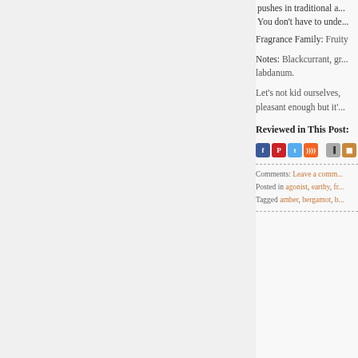pushes in traditional a... You don't have to unde...
Fragrance Family: Fruity
Notes: Blackcurrant, gr... labdanum.
Let's not kid ourselves, pleasant enough but it'...
Reviewed in This Post:
[Figure (other): Social sharing icons: Facebook, Pinterest, Twitter, RSS, document, bookmark]
Comments: Leave a comm... Posted in agonist, earthy, fr... Tagged amber, bergamot, b...